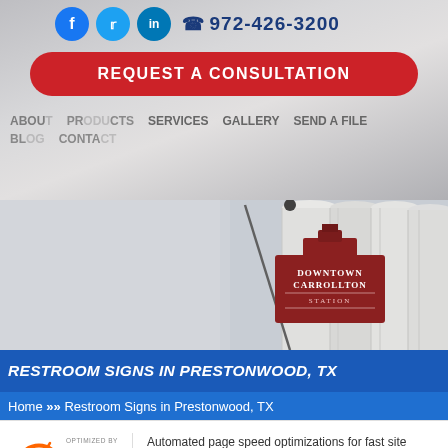972-426-3200
REQUEST A CONSULTATION
ABOUT PRODUCTS SERVICES GALLERY SEND A FILE BLOG CONTACT
[Figure (photo): Outdoor photo showing Downtown Carrollton Station sign on a building with tall white cylindrical silos in background, blue sky, and a pole/crane visible]
RESTROOM SIGNS IN PRESTONWOOD, TX
Home >> Restroom Signs in Prestonwood, TX
Ready to Get Started?
[Figure (logo): NitroPack.io logo with orange speedometer arc graphic and text 'OPTIMIZED BY NitroPack.io']
Automated page speed optimizations for fast site performance